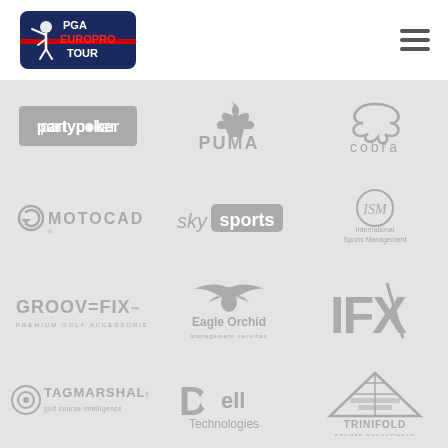[Figure (logo): PGA EuroPro Tour logo - dark blue shield with golfer silhouette and text PGA EUROPRO TOUR]
[Figure (logo): Hamburger menu icon - three horizontal lines]
[Figure (logo): partypoker logo - grey rounded rectangle with partypoker text]
[Figure (logo): PUMA logo with puma leaping cat icon, grey]
[Figure (logo): cobra golf logo - snake shape above text cobra, grey]
[Figure (logo): MOTOCADDY logo with circular arrow icon, grey]
[Figure (logo): sky sports logo - sky in plain text, sports in rounded rectangle, grey]
[Figure (logo): International Sports Management logo - ISM circle mark with text below, grey]
[Figure (logo): GROOVEFIX Premium Golf Accessories logo, grey]
[Figure (logo): Eagle Orchid Management Services logo - eagle wings spread above text, grey]
[Figure (logo): IFX logo - large letters with diagonal slash, grey]
[Figure (logo): TAGMARSHAL golf course intelligence logo - circular target icon with text, grey]
[Figure (logo): Dell Technologies logo - Dell stylized D with Technologies text, grey]
[Figure (logo): TRINIFOLD Sports Management logo - triangle/pyramid shape with grid pattern and text below, grey]